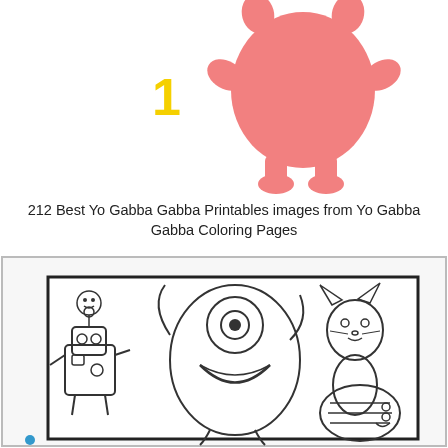[Figure (illustration): A pink cartoon monster character standing upright with arms outstretched, round body, small legs and feet. A yellow number '1' appears to the left of the character.]
212 Best Yo Gabba Gabba Printables images from Yo Gabba Gabba Coloring Pages
[Figure (illustration): A black and white coloring page showing Yo Gabba Gabba characters including a robot, a blob-like creature with a big mouth, a cat character, and a striped worm-like character, all appearing to be running or jumping. The image is framed with a black border.]